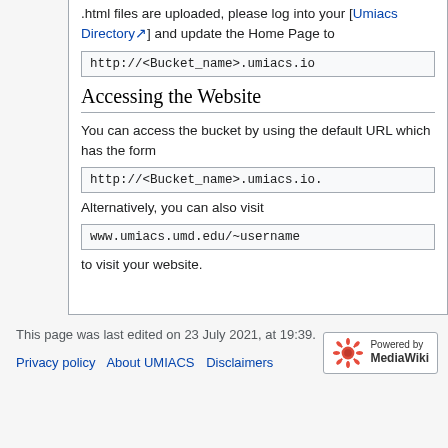.html files are uploaded, please log into your [Umiacs Directory] and update the Home Page to
http://<Bucket_name>.umiacs.io
Accessing the Website
You can access the bucket by using the default URL which has the form
http://<Bucket_name>.umiacs.io.
Alternatively, you can also visit
www.umiacs.umd.edu/~username
to visit your website.
This page was last edited on 23 July 2021, at 19:39.
Privacy policy   About UMIACS   Disclaimers